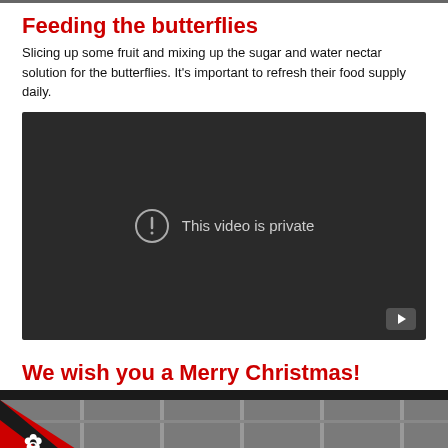Feeding the butterflies
Slicing up some fruit and mixing up the sugar and water nectar solution for the butterflies. It's important to refresh their food supply daily.
[Figure (screenshot): Embedded video player showing 'This video is private' message on a dark background with a YouTube play button in the bottom right corner.]
We wish you a Merry Christmas!
[Figure (photo): Bottom portion of the page showing an image with a red and black diagonal corner badge with a gear/snowflake icon labeled 'C', and a blurred indoor background.]